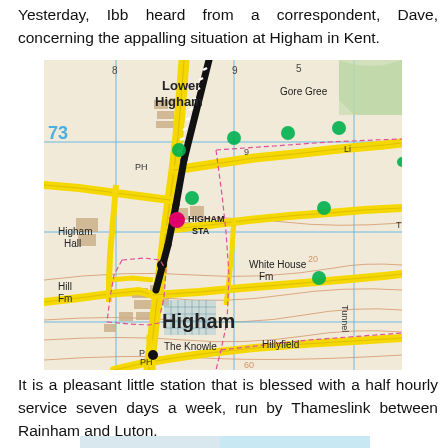Yesterday, Ibb heard from a correspondent, Dave, concerning the appalling situation at Higham in Kent.
[Figure (map): Ordnance Survey style map showing Higham in Kent area including Lower Higham, Gore Green, Higham Hall, Hill Fm, White House Fm, The Knowle, Higham, Hillyfield, HIGHAM STA, with road networks in yellow, a black diagonal railway line, blue grid lines, pink dashed boundaries, and green dots marking stops/points of interest.]
It is a pleasant little station that is blessed with a half hourly service seven days a week, run by Thameslink between Rainham and Luton.
[Figure (map): Partial map showing Gravesend area, light blue background with road network visible at bottom of page.]